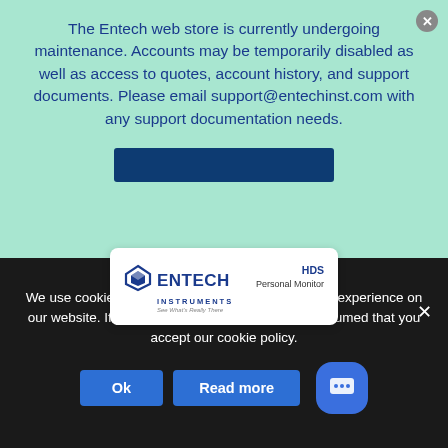The Entech web store is currently undergoing maintenance. Accounts may be temporarily disabled as well as access to quotes, account history, and support documents. Please email support@entechinst.com with any support documentation needs.
[Figure (logo): Entech Instruments logo with diamond icon and text 'HDS Personal Monitor']
We use cookies to ensure that we give you the best experience on our website. If you continue to use this site, it is assumed that you accept our cookie policy.